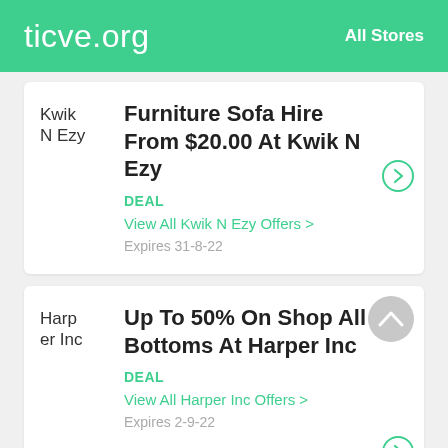ticve.org   All Stores
Kwik N Ezy
Furniture Sofa Hire From $20.00 At Kwik N Ezy
DEAL
View All Kwik N Ezy Offers >
Expires 31-8-22
Harper Inc
Up To 50% On Shop All Bottoms At Harper Inc
DEAL
View All Harper Inc Offers >
Expires 2-9-22